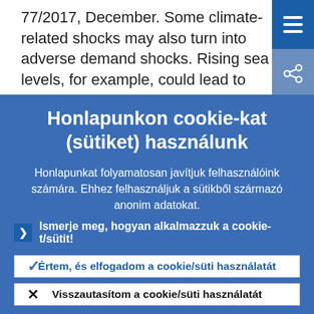77/2017, December. Some climate-related shocks may also turn into adverse demand shocks. Rising sea levels, for example, could lead to abrupt
Honlapunkon cookie-kat (sütiket) használunk
Honlapunkat folyamatosan javítjuk felhasználóink számára. Ehhez felhasználjuk a sütikből származó anonim adatokat.
Ismerje meg, hogyan alkalmazzuk a cookie-t/sütit!
Értem, és elfogadom a cookie/süti használatát
Visszautasítom a cookie/süti használatát